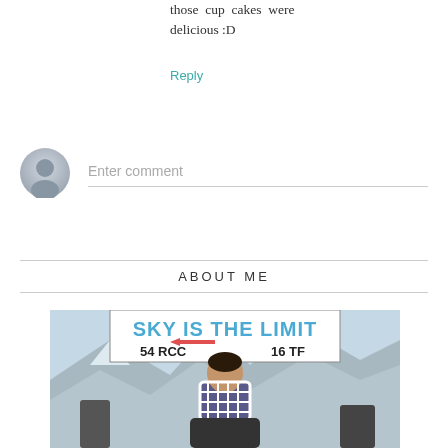those cup cakes were delicious :D
Reply
Enter comment
ABOUT ME
[Figure (photo): A person standing in front of a sign that reads 'SKY IS THE LIMIT' with '54 RCC' and '16 TF', with snow-covered mountains in the background.]